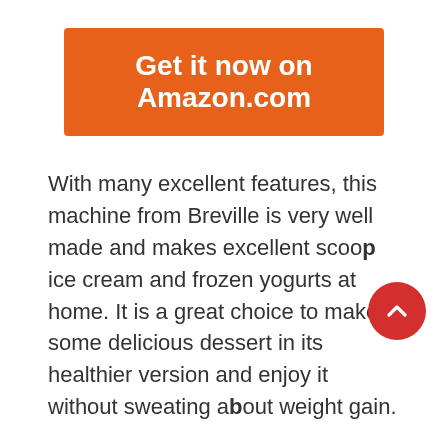[Figure (other): Orange button with text 'Get it now on Amazon.com']
With many excellent features, this machine from Breville is very well made and makes excellent scoop ice cream and frozen yogurts at home. It is a great choice to make some delicious dessert in its healthier version and enjoy it without sweating about weight gain.
The Breville certainly has attractive features, like 12 hardness settings for making the perfect structured ice cream, gelato, yogurt, etc. With a bowl capacity of 1 liter, you can make one full